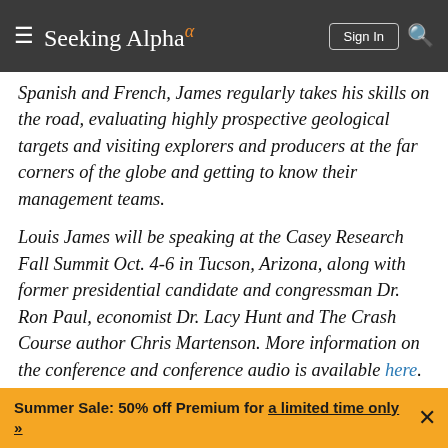Seeking Alpha
Spanish and French, James regularly takes his skills on the road, evaluating highly prospective geological targets and visiting explorers and producers at the far corners of the globe and getting to know their management teams.
Louis James will be speaking at the Casey Research Fall Summit Oct. 4-6 in Tucson, Arizona, along with former presidential candidate and congressman Dr. Ron Paul, economist Dr. Lacy Hunt and The Crash Course author Chris Martenson. More information on the conference and conference audio is available here.
Summer Sale: 50% off Premium for a limited time only »